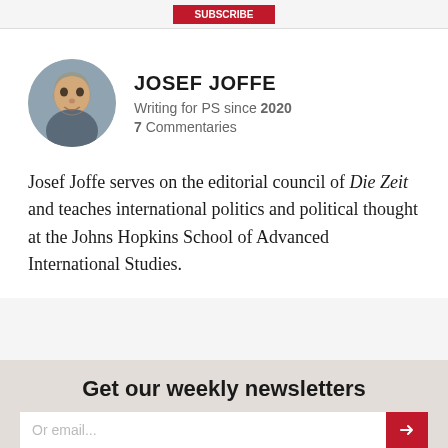JOSEF JOFFE
Writing for PS since 2020
7 Commentaries
Josef Joffe serves on the editorial council of Die Zeit and teaches international politics and political thought at the Johns Hopkins School of Advanced International Studies.
Get our weekly newsletters